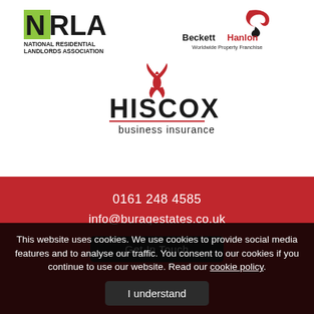[Figure (logo): NRLA National Residential Landlords Association logo]
[Figure (logo): BeckettHanlon Worldwide Property Franchise logo]
[Figure (logo): Hiscox business insurance logo]
0161 248 4585
info@buraqestates.co.uk
Get In Touch
This website uses cookies. We use cookies to provide social media features and to analyse our traffic. You consent to our cookies if you continue to use our website. Read our cookie policy.
I understand